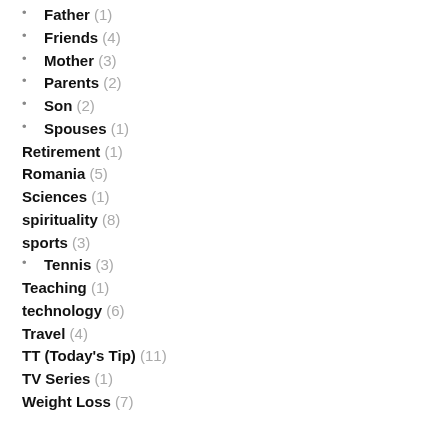Father (1)
Friends (4)
Mother (3)
Parents (2)
Son (2)
Spouses (1)
Retirement (1)
Romania (5)
Sciences (1)
spirituality (8)
sports (3)
Tennis (3)
Teaching (1)
technology (6)
Travel (4)
TT (Today's Tip) (11)
TV Series (1)
Weight Loss (7)